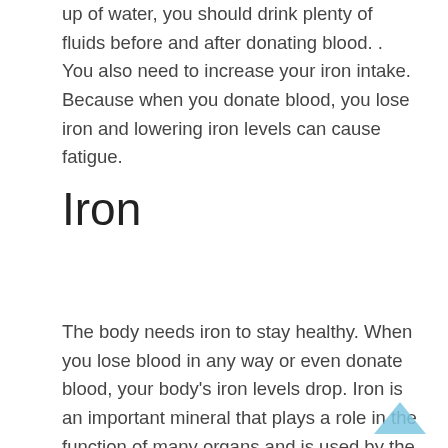up of water, you should drink plenty of fluids before and after donating blood. . You also need to increase your iron intake. Because when you donate blood, you lose iron and lowering iron levels can cause fatigue.
Iron
The body needs iron to stay healthy. When you lose blood in any way or even donate blood, your body's iron levels drop. Iron is an important mineral that plays a role in the function of many organs and is used by the body to make hemoglobin. Hemoglobin is a protein found in red blood cells that is responsible for carrying oxygen from the lungs to other parts of the body.